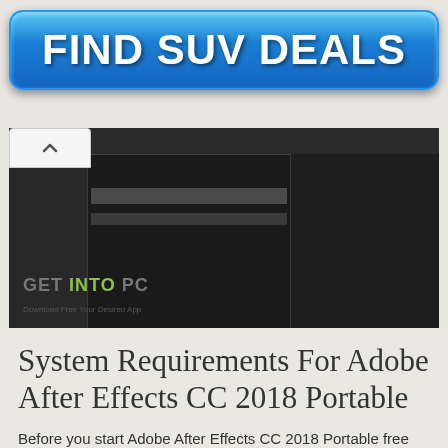[Figure (other): Blue gradient button/advertisement banner with bold white text saying FIND SUV DEALS]
[Figure (screenshot): Screenshot of Adobe After Effects CC 2018 interface with dark UI, showing timeline and panels. GET INTO PC watermark visible with green 'INTO' text and tagline 'Download Free Your Desired App']
System Requirements For Adobe After Effects CC 2018 Portable
Before you start Adobe After Effects CC 2018 Portable free download, make sure your PC meets minimum system requirements.